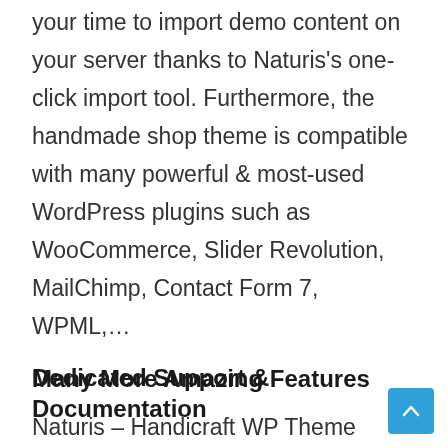your time to import demo content on your server thanks to Naturis's one-click import tool. Furthermore, the handmade shop theme is compatible with many powerful & most-used WordPress plugins such as WooCommerce, Slider Revolution, MailChimp, Contact Form 7, WPML,...
Many More Amazing Features
Naturis – Handicraft WP Theme contains amazing features: SEO Optimization, RTL Support, Theme Translation, Social Media, Real-time Customization, Unlimited Color & Typography Settings, and a Powerful Admin Panel.
Dedicated Support & Documentation